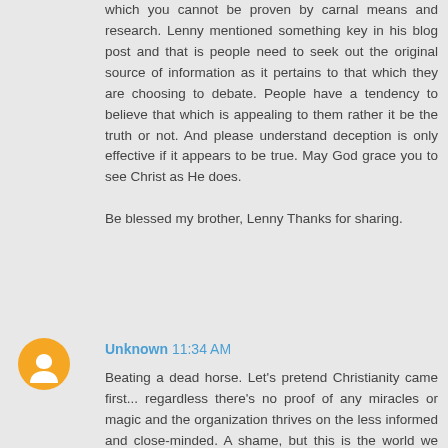which you cannot be proven by carnal means and research. Lenny mentioned something key in his blog post and that is people need to seek out the original source of information as it pertains to that which they are choosing to debate. People have a tendency to believe that which is appealing to them rather it be the truth or not. And please understand deception is only effective if it appears to be true. May God grace you to see Christ as He does.

Be blessed my brother, Lenny Thanks for sharing.
Unknown  11:34 AM
Beating a dead horse. Let's pretend Christianity came first... regardless there's no proof of any miracles or magic and the organization thrives on the less informed and close-minded. A shame, but this is the world we live in. There's actually people that claim to know everything just